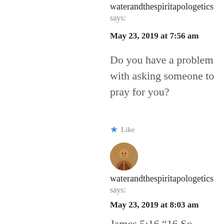waterandthespiritapologetics says:
May 23, 2019 at 7:56 am
Do you have a problem with asking someone to pray for you?
★ Like
[Figure (photo): Circular avatar image of waterandthespiritapologetics user]
waterandthespiritapologetics says:
May 23, 2019 at 8:03 am
James 5:16 “16 So confess your sins to one another,